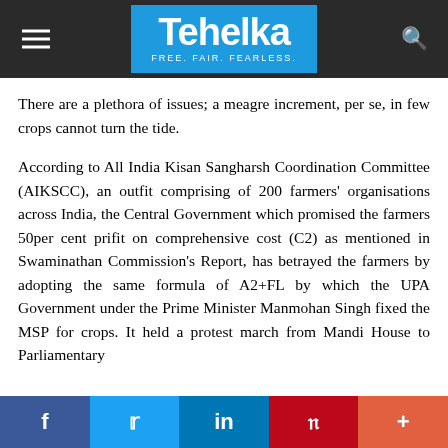Tehelka — FREE. FAIR. FEARLESS.
There are a plethora of issues; a meagre increment, per se, in few crops cannot turn the tide.
According to All India Kisan Sangharsh Coordination Committee (AIKSCC), an outfit comprising of 200 farmers' organisations across India, the Central Government which promised the farmers 50per cent prifit on comprehensive cost (C2) as mentioned in Swaminathan Commission's Report, has betrayed the farmers by adopting the same formula of A2+FL by which the UPA Government under the Prime Minister Manmohan Singh fixed the MSP for crops. It held a protest march from Mandi House to Parliamentary
f  t  in  P  +